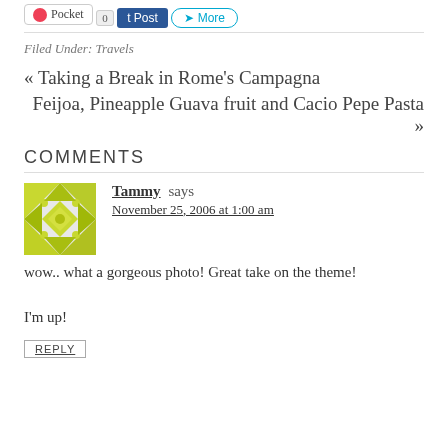[Figure (other): Social sharing buttons: Pocket, 0 count, Post, More]
Filed Under: Travels
« Taking a Break in Rome's Campagna
Feijoa, Pineapple Guava fruit and Cacio Pepe Pasta »
COMMENTS
[Figure (illustration): User avatar for commenter Tammy — geometric yellow/green pattern]
Tammy says
November 25, 2006 at 1:00 am
wow.. what a gorgeous photo! Great take on the theme!

I'm up!
REPLY